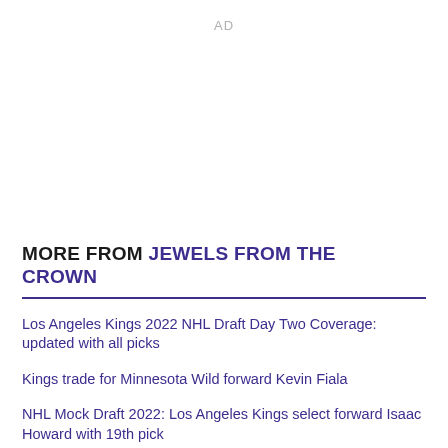AD
MORE FROM JEWELS FROM THE CROWN
Los Angeles Kings 2022 NHL Draft Day Two Coverage: updated with all picks
Kings trade for Minnesota Wild forward Kevin Fiala
NHL Mock Draft 2022: Los Angeles Kings select forward Isaac Howard with 19th pick
Crown Conversations: Half Dead, Fully Empty
Crown Conversations: Post Trade Deadline Madness